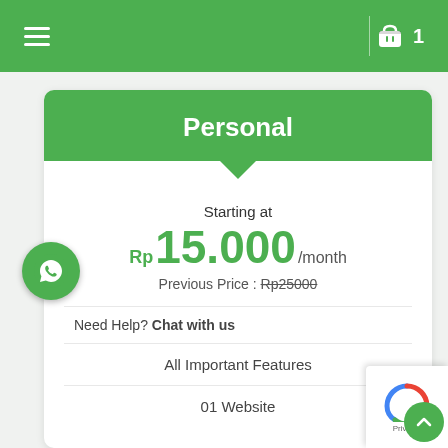≡  [cart icon] 1
Personal
Starting at
Rp15.000/month
Previous Price : Rp25000
Need Help? Chat with us
All Important Features
01 Website